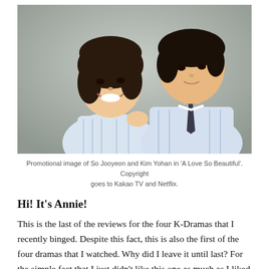[Figure (photo): Promotional photo of So Jooyeon and Kim Yohan posing together, both wearing light blue striped shirts; the woman is smiling brightly in the foreground and the man stands behind her wearing a dark tie.]
Promotional image of So Jooyeon and Kim Yohan in 'A Love So Beautiful'. Copyright goes to Kakao TV and Netflix.
Hi! It's Annie!
This is the last of the reviews for the four K-Dramas that I recently binged. Despite this fact, this is also the first of the four dramas that I watched. Why did I leave it until last? For the simple fact that I just didn't like this one as much as I liked the other ones. And really, it's difficult to